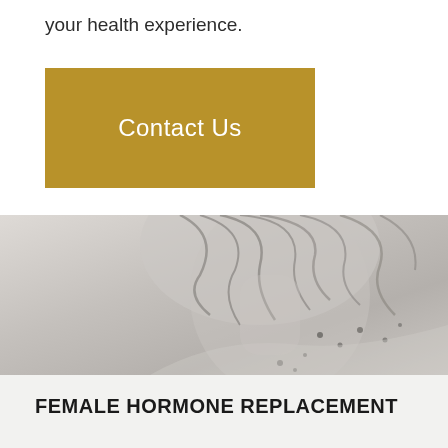your health experience.
Contact Us
[Figure (photo): Grayscale photo of a woman with hair pulled up, shown from behind/side, with a soft blurred floral or nature background]
FEMALE HORMONE REPLACEMENT